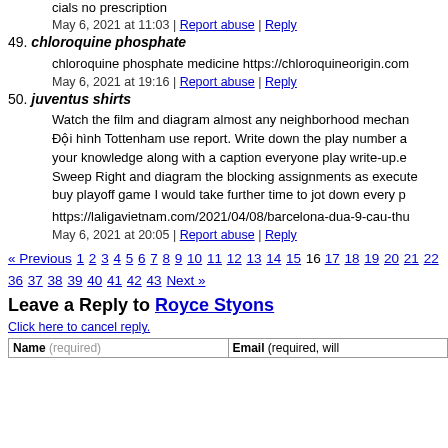cials no prescription
May 6, 2021 at 11:03 | Report abuse | Reply
49. chloroquine phosphate
chloroquine phosphate medicine https://chloroquineorigin.com
May 6, 2021 at 19:16 | Report abuse | Reply
50. juventus shirts
Watch the film and diagram almost any neighborhood mechan... Đội hình Tottenham use report. Write down the play number a your knowledge along with a caption everyone play write-up.e Sweep Right and diagram the blocking assignments as execute buy playoff game I would take further time to jot down every p
https://laligavietnam.com/2021/04/08/barcelona-dua-9-cau-thu
May 6, 2021 at 20:05 | Report abuse | Reply
« Previous 1 2 3 4 5 6 7 8 9 10 11 12 13 14 15 16 17 18 19 20 21 22 36 37 38 39 40 41 42 43 Next »
Leave a Reply to Royce Styons
Click here to cancel reply.